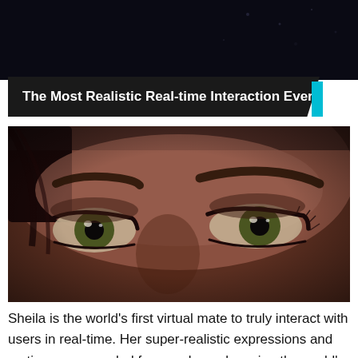[Figure (photo): Dark cinematic photo, partially visible, appears to be a dark background with faint bokeh/stars]
The Most Realistic Real-time Interaction Ever
[Figure (photo): Close-up photo of a realistic female face focusing on the eyes and brow area, with detailed texture suggesting a virtual/CGI character named Sheila]
Sheila is the world's first virtual mate to truly interact with users in real-time. Her super-realistic expressions and motions are sampled from real people, using the world's leading real-time